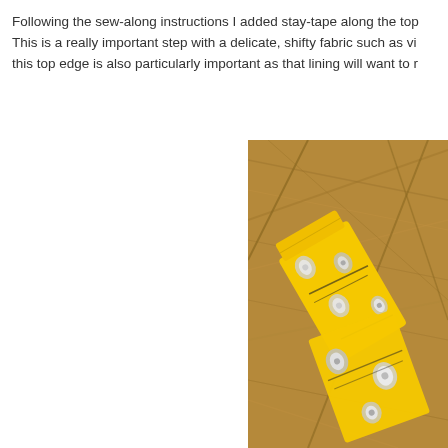Following the sew-along instructions I added stay-tape along the top. This is a really important step with a delicate, shifty fabric such as vi... this top edge is also particularly important as that lining will want to r...
[Figure (photo): A yellow fabric with grey floral print, folded and placed on a wooden floor surface. The fabric appears to be a garment piece with black and white floral pattern, lying on warm brown wooden planks.]